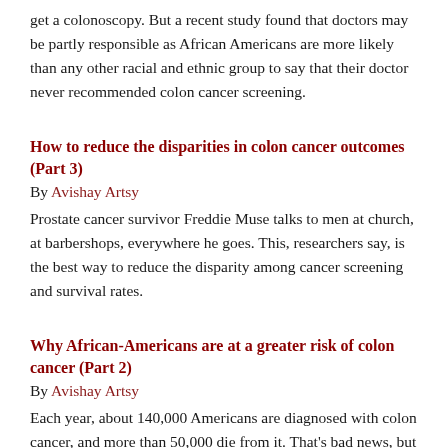get a colonoscopy. But a recent study found that doctors may be partly responsible as African Americans are more likely than any other racial and ethnic group to say that their doctor never recommended colon cancer screening.
How to reduce the disparities in colon cancer outcomes (Part 3)
By Avishay Artsy
Prostate cancer survivor Freddie Muse talks to men at church, at barbershops, everywhere he goes. This, researchers say, is the best way to reduce the disparity among cancer screening and survival rates.
Why African-Americans are at a greater risk of colon cancer (Part 2)
By Avishay Artsy
Each year, about 140,000 Americans are diagnosed with colon cancer, and more than 50,000 die from it. That's bad news, but for African-Americans, it's even worse. KCRW reporter Avishay Artsy explains why.